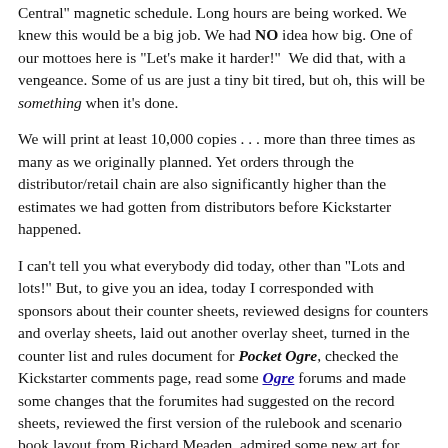Central" magnetic schedule. Long hours are being worked. We knew this would be a big job. We had NO idea how big. One of our mottoes here is "Let's make it harder!" We did that, with a vengeance. Some of us are just a tiny bit tired, but oh, this will be something when it's done.

We will print at least 10,000 copies . . . more than three times as many as we originally planned. Yet orders through the distributor/retail chain are also significantly higher than the estimates we had gotten from distributors before Kickstarter happened.

I can't tell you what everybody did today, other than "Lots and lots!" But, to give you an idea, today I corresponded with sponsors about their counter sheets, reviewed designs for counters and overlay sheets, laid out another overlay sheet, turned in the counter list and rules document for Pocket Ogre, checked the Kickstarter comments page, read some Ogre forums and made some changes that the forumites had suggested on the record sheets, reviewed the first version of the rulebook and scenario book layout from Richard Meaden, admired some new art for buildings, worked with Phil to estimate the size of the plastic tray that will hold the counters, boggled when Phil said "This will have more than a thousand counters!", did a quick estimate and concluded that it will certainly have more than 950, wrote this Illuminator . . . And it's barely after 10pm.